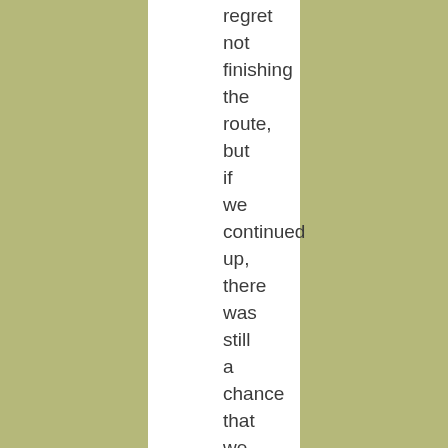regret not finishing the route, but if we continued up, there was still a chance that we could finish it in light